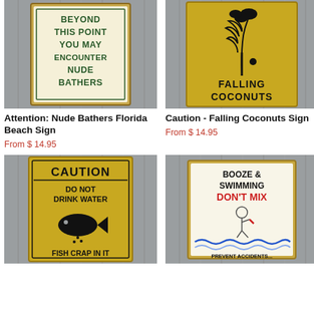[Figure (photo): Novelty sign on wood wall: 'Beyond This Point You May Encounter Nude Bathers' - cream colored rectangular sign with dark green text]
Attention: Nude Bathers Florida Beach Sign
From $ 14.95
[Figure (photo): Yellow caution sign on wood wall with palm tree illustration and text 'Falling Coconuts']
Caution - Falling Coconuts Sign
From $ 14.95
[Figure (photo): Yellow caution sign on wood wall: 'Caution Do Not Drink Water Fish Crap In It' with fish illustration]
[Figure (photo): Novelty sign on wood wall: 'Booze & Swimming Don't Mix - Prevent Accidents... Quit Swimming' with cartoon illustration]